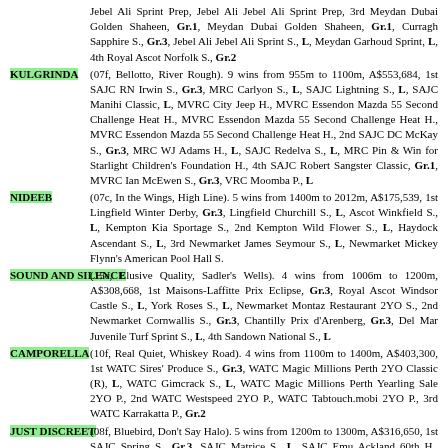Jebel Ali Sprint Prep, Jebel Ali Jebel Ali Sprint Prep, 3rd Meydan Dubai Golden Shaheen, Gr.1, Meydan Dubai Golden Shaheen, Gr.1, Curragh Sapphire S., Gr.3, Jebel Ali Jebel Ali Sprint S., L, Meydan Garhoud Sprint, L, 4th Royal Ascot Norfolk S., Gr.2
KULGRINDA (07f, Bellotto, River Rough). 9 wins from 955m to 1100m, A$553,684, 1st SAJC RN Irwin S., Gr.3, MRC Carlyon S., L, SAJC Lightning S., L, SAJC Manihi Classic, L, MVRC City Jeep H., MVRC Essendon Mazda 55 Second Challenge Heat H., MVRC Essendon Mazda 55 Second Challenge Heat H., MVRC Essendon Mazda 55 Second Challenge Heat H., 2nd SAJC DC McKay S., Gr.3, MRC WJ Adams H., L, SAJC Redelva S., L, MRC Pin & Win for Starlight Children's Foundation H., 4th SAJC Robert Sangster Classic, Gr.1, MVRC Ian McEwen S., Gr.3, VRC Moomba P., L
NIDEEB (07c, In the Wings, High Line). 5 wins from 1400m to 2012m, A$175,539, 1st Lingfield Winter Derby, Gr.3, Lingfield Churchill S., L, Ascot Winkfield S., L, Kempton Kia Sportage S., 2nd Kempton Wild Flower S., L, Haydock Ascendant S., L, 3rd Newmarket James Seymour S., L, Newmarket Mickey Flynn's American Pool Hall S.
SOUND AND SILENCE (15c, Elusive Quality, Sadler's Wells). 4 wins from 1006m to 1200m, A$308,668, 1st Maisons-Laffitte Prix Eclipse, Gr.3, Royal Ascot Windsor Castle S., L, York Roses S., L, Newmarket Montaz Restaurant 2YO S., 2nd Newmarket Cornwallis S., Gr.3, Chantilly Prix d'Arenberg, Gr.3, Del Mar Juvenile Turf Sprint S., L, 4th Sandown National S., L
CAMPORELLA (10f, Real Quiet, Whiskey Road). 4 wins from 1100m to 1400m, A$403,300, 1st WATC Sires' Produce S., Gr.3, WATC Magic Millions Perth 2YO Classic (R), L, WATC Gimcrack S., L, WATC Magic Millions Perth Yearling Sale 2YO P., 2nd WATC Westspeed 2YO P., WATC Tabtouch.mobi 2YO P., 3rd WATC Karrakatta P., Gr.2
JUST DISCREET (08f, Bluebird, Don't Say Halo). 5 wins from 1200m to 1300m, A$316,650, 1st SAJC Spring S., Gr.3, SAJC Matrice S., L, SAJC Emu Ackland 60th H., SAJC PRS Conveyancing H., 2nd SAJC Proud Miss S., L, SAJC Durbridge S., L, SAJC McEvoy Mitchell Racing H., SAJC Centrebet H., SAJC Sportingbet H., SAJC Clean SA H., 3rd SAJC RN Irwin S., Gr.3, SAJC City of Marion S., L, SAJC Christmas H., L, SAJC Peggy McKinnon H., SAJC ASICS Made of Sport H., 4th SAJC Laelia S., L, SAJC Manihi Classic, L
FOLKSWOOD (13g, Galileo, Kris). 5 wins from 1408m to 2025m, A$931,359, 1st Meydan Dubai Millennium S., Gr.3, Cranbourne TC Cranbourne Cup, L,